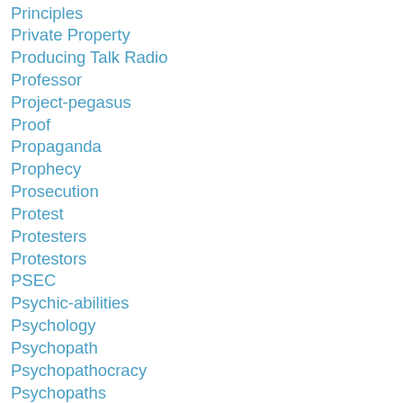Principles
Private Property
Producing Talk Radio
Professor
Project-pegasus
Proof
Propaganda
Prophecy
Prosecution
Protest
Protesters
Protestors
PSEC
Psychic-abilities
Psychology
Psychopath
Psychopathocracy
Psychopaths
Psychopathy
Psychotropic Drugs
Psyop